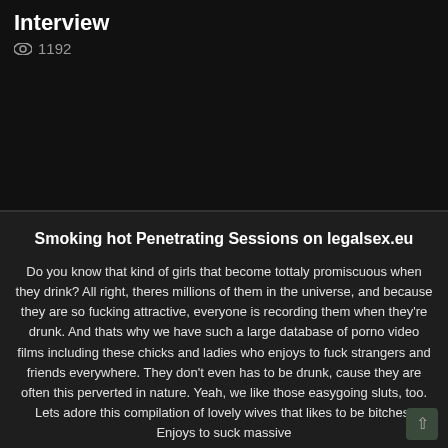Interview
👁 1192
Smoking hot Penetrating Sessions on legalsex.eu
Do you know that kind of girls that become tottaly promiscuous when they drink? All right, theres millions of them in the universe, and because they are so fucking attractive, everyone is recording them when they're drunk. And thats why we have such a large database of porno video films including these chicks and ladies who enjoys to fuck strangers and friends everywhere. They don't even has to be drunk, cause they are often this perverted in nature. Yeah, we like those easygoing sluts, too. Lets adore this compilation of lovely wives that likes to be bitches. Enjoys to suck massive